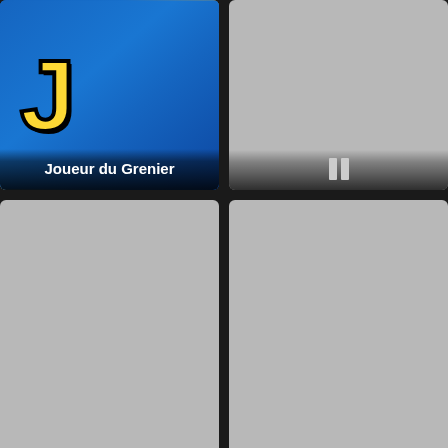[Figure (screenshot): Joueur du Grenier channel thumbnail with blue and yellow stylized logo text]
[Figure (screenshot): Gray placeholder thumbnail with bar/pause icon]
[Figure (screenshot): GameTrailers TV with Geoff Keighley channel thumbnail - gray placeholder]
[Figure (screenshot): Spyder Games channel thumbnail - gray placeholder]
[Figure (screenshot): Gray placeholder thumbnail bottom left]
[Figure (screenshot): Gray placeholder thumbnail bottom right]